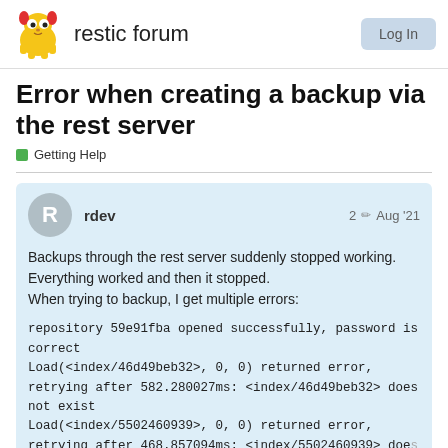restic forum
Error when creating a backup via the rest server
Getting Help
rdev  2  Aug '21

Backups through the rest server suddenly stopped working. Everything worked and then it stopped.
When trying to backup, I get multiple errors:

repository 59e91fba opened successfully, password is correct
Load(<index/46d49beb32>, 0, 0) returned error, retrying after 582.280027ms: <index/46d49beb32> does not exist
Load(<index/5502460939>, 0, 0) returned error, retrying after 468.857094ms: <index/5502460939> does not exist
Load(<index/119b02d70c>, 0, 0) returned
468.219748ms: <index/119b02d70c> doe...
1 / 11